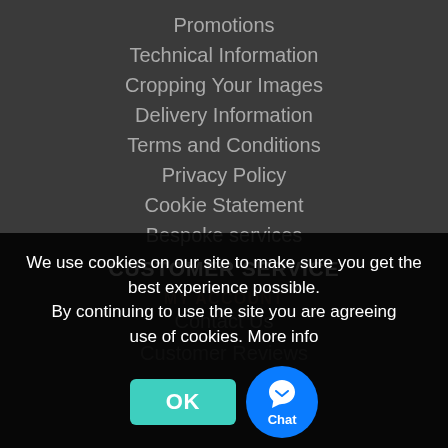Promotions
Technical Information
Cropping Your Images
Delivery Information
Terms and Conditions
Privacy Policy
Cookie Statement
Bespoke services
CUSTOMER SERVICE
Contact Us
Customer Reviews
MY ACCOUNT
We use cookies on our site to make sure you get the best experience possible.
By continuing to use the site you are agreeing use of cookies. More info
OK
Chat